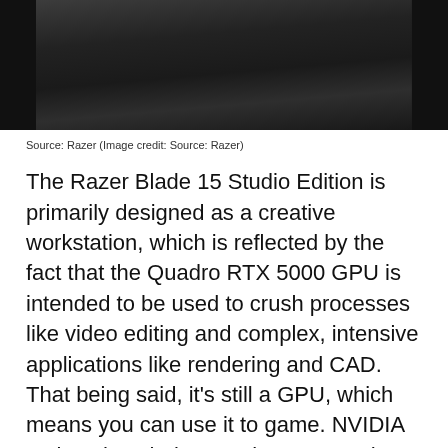[Figure (photo): Dark photo of a Razer laptop, mostly black surface, upper portion of the device visible]
Source: Razer (Image credit: Source: Razer)
The Razer Blade 15 Studio Edition is primarily designed as a creative workstation, which is reflected by the fact that the Quadro RTX 5000 GPU is intended to be used to crush processes like video editing and complex, intensive applications like rendering and CAD. That being said, it's still a GPU, which means you can use it to game. NVIDIA makes the whole experience smoother by allowing you to switch easily between the Studio drivers and the GeForce game-ready drivers. As long as you have NVIDIA's GeForce Experience application installed, you can choose which driver you want to have installed and switch...